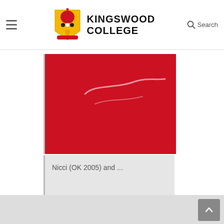Kingswood College
[Figure (screenshot): Kingswood College website header with hamburger menu, college crest logo, college name, and search button]
[Figure (photo): Red background image (partial view of a Kingswood College card/banner) with white signature/text overlay]
Nicci (OK 2005) and ...
[Figure (other): Grey footer bar with back-to-top arrow button on the right]